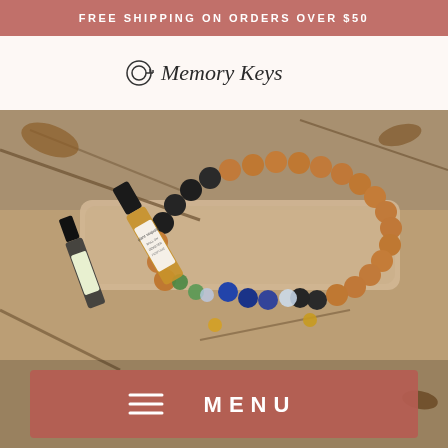FREE SHIPPING ON ORDERS OVER $50
Memory Keys
[Figure (photo): Flat lay photo of wooden bead bracelets with lava stones, gemstone beads (blue, green, clear), and two Demeter 'Giant Sequoia' roll-on perfume bottles arranged on driftwood and natural debris]
MENU